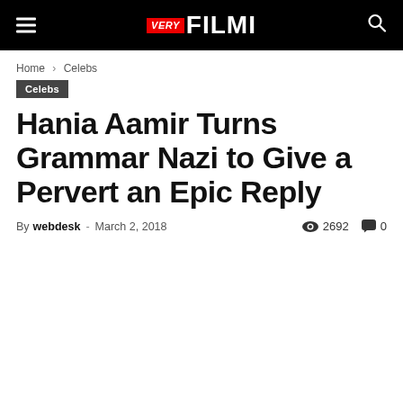VERY FILMI
Home › Celebs
Celebs
Hania Aamir Turns Grammar Nazi to Give a Pervert an Epic Reply
By webdesk - March 2, 2018  2692  0